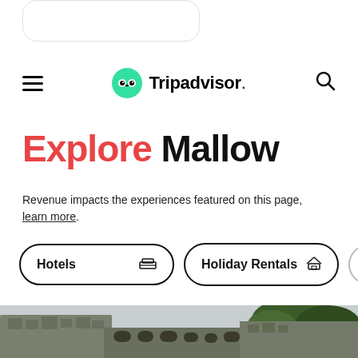[Figure (logo): Tripadvisor navigation bar with hamburger menu, owl logo, wordmark, and search icon]
Explore Mallow
Revenue impacts the experiences featured on this page, learn more.
Hotels
Holiday Rentals
Thin…
[Figure (photo): Photo of stone castle ruins with green trees and overcast sky in Mallow, Ireland]